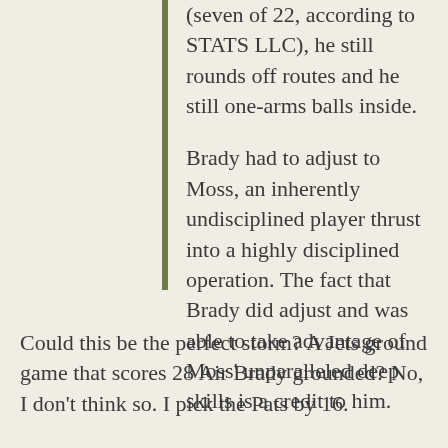(seven of 22, according to STATS LLC), he still rounds off routes and he still one-arms balls inside.
Brady had to adjust to Moss, an inherently undisciplined player thrust into a highly disciplined operation. The fact that Brady did adjust and was able to take advantage of Moss' unparalleled deep skills is a credit to him.
Could this be the perfect storm? A Jets ground game that scores 28 Air Brady grounded? No, I don't think so. I pick the Pats by 16.